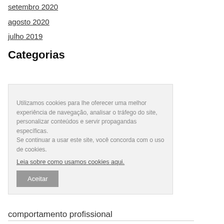setembro 2020
agosto 2020
julho 2019
Categorias
Utilizamos cookies para lhe oferecer uma melhor experiência de navegação, analisar o tráfego do site, personalizar conteúdos e servir propagandas específicas.
Se continuar a usar este site, você concorda com o uso de cookies.
Leia sobre como usamos cookies aqui.
Aceitar
comportamento profissional